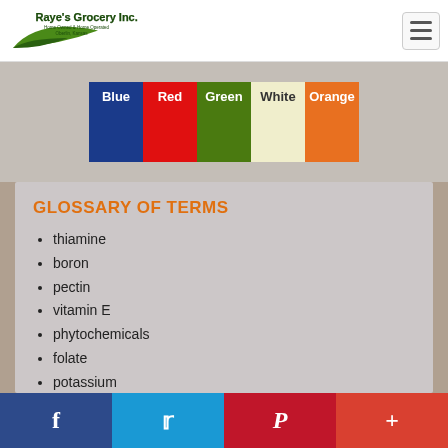Raye's Grocery Inc. Home Owned & Home Operated, Oberlin, Kansas
[Figure (infographic): Five colored swatches labeled Blue, Red, Green, White, Orange]
GLOSSARY OF TERMS
thiamine
boron
pectin
vitamin E
phytochemicals
folate
potassium
phosphorus
f  Twitter  Pinterest  +